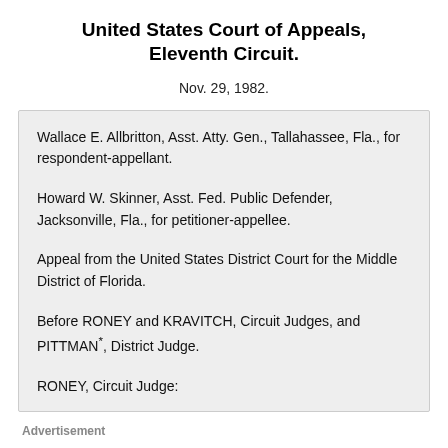United States Court of Appeals, Eleventh Circuit.
Nov. 29, 1982.
Wallace E. Allbritton, Asst. Atty. Gen., Tallahassee, Fla., for respondent-appellant.
Howard W. Skinner, Asst. Fed. Public Defender, Jacksonville, Fla., for petitioner-appellee.
Appeal from the United States District Court for the Middle District of Florida.
Before RONEY and KRAVITCH, Circuit Judges, and PITTMAN*, District Judge.
RONEY, Circuit Judge:
Advertisement